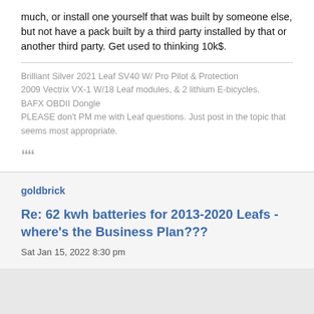much, or install one yourself that was built by someone else, but not have a pack built by a third party installed by that or another third party. Get used to thinking 10k$.
Brilliant Silver 2021 Leaf SV40 W/ Pro Pilot & Protection
2009 Vectrix VX-1 W/18 Leaf modules, & 2 lithium E-bicycles.
BAFX OBDII Dongle
PLEASE don't PM me with Leaf questions. Just post in the topic that seems most appropriate.
““
goldbrick
Re: 62 kwh batteries for 2013-2020 Leafs - where's the Business Plan???
Sat Jan 15, 2022 8:30 pm